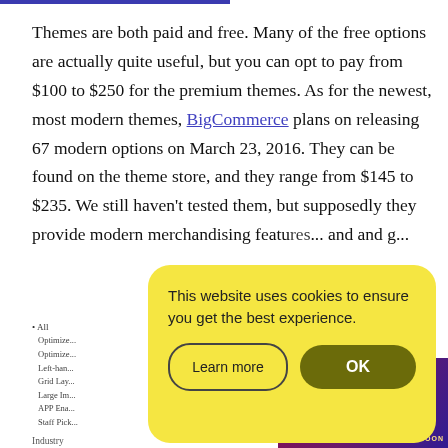Themes are both paid and free. Many of the free options are actually quite useful, but you can opt to pay from $100 to $250 for the premium themes. As for the newest, most modern themes, BigCommerce plans on releasing 67 modern options on March 23, 2016. They can be found on the theme store, and they range from $145 to $235. We still haven't tested them, but supposedly they provide modern merchandising featu... nd and g...
[Figure (screenshot): Cookie consent modal overlay on a webpage. Yellow rounded rectangle popup saying 'This website uses cookies to ensure you get the best experience.' with 'Learn more' outline button and 'OK' dark olive button.]